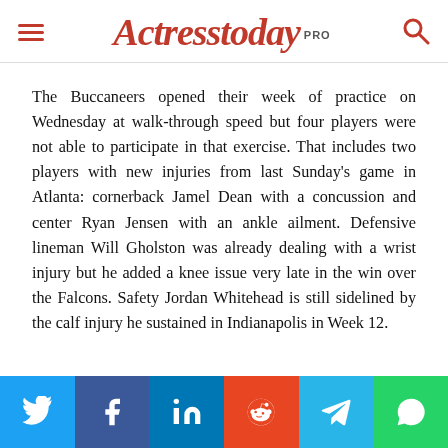Actresstoday PRO
The Buccaneers opened their week of practice on Wednesday at walk-through speed but four players were not able to participate in that exercise. That includes two players with new injuries from last Sunday’s game in Atlanta: cornerback Jamel Dean with a concussion and center Ryan Jensen with an ankle ailment. Defensive lineman Will Gholston was already dealing with a wrist injury but he added a knee issue very late in the win over the Falcons. Safety Jordan Whitehead is still sidelined by the calf injury he sustained in Indianapolis in Week 12.
[Figure (infographic): Social media share buttons: Twitter (blue), Facebook (dark blue), LinkedIn (blue), Reddit (orange-red), Telegram (light blue), WhatsApp (green)]